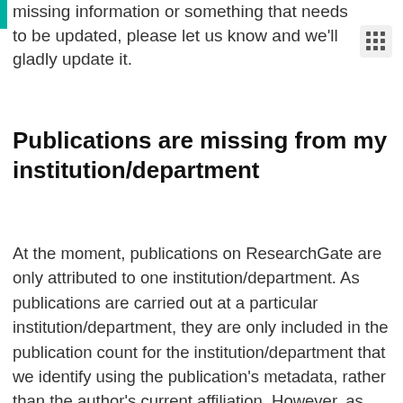missing information or something that needs to be updated, please let us know and we'll gladly update it.
Publications are missing from my institution/department
At the moment, publications on ResearchGate are only attributed to one institution/department. As publications are carried out at a particular institution/department, they are only included in the publication count for the institution/department that we identify using the publication's metadata, rather than the author's current affiliation. However, as publication reads are based on individual members, these are automatically included in your institution and